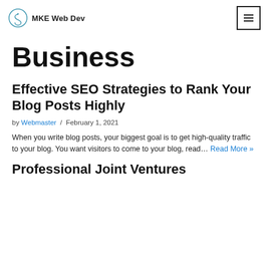MKE Web Dev
Business
Effective SEO Strategies to Rank Your Blog Posts Highly
by Webmaster / February 1, 2021
When you write blog posts, your biggest goal is to get high-quality traffic to your blog. You want visitors to come to your blog, read… Read More »
Professional Joint Ventures